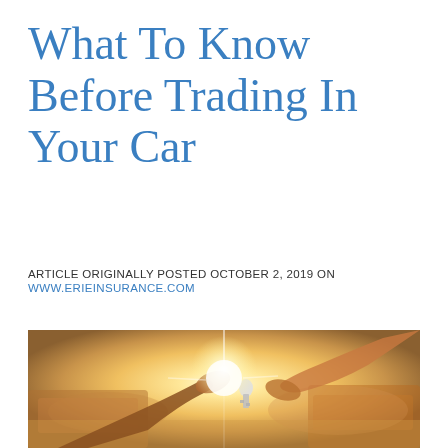What To Know Before Trading In Your Car
ARTICLE ORIGINALLY POSTED OCTOBER 2, 2019 ON WWW.ERIEINSURANCE.COM
[Figure (photo): Two people exchanging car keys with bright sunlight between them, blurred cars in background, warm tones]